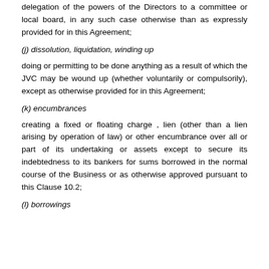delegation of the powers of the Directors to a committee or local board, in any such case otherwise than as expressly provided for in this Agreement;
(j) dissolution, liquidation, winding up
doing or permitting to be done anything as a result of which the JVC may be wound up (whether voluntarily or compulsorily), except as otherwise provided for in this Agreement;
(k) encumbrances
creating a fixed or floating charge , lien (other than a lien arising by operation of law) or other encumbrance over all or part of its undertaking or assets except to secure its indebtedness to its bankers for sums borrowed in the normal course of the Business or as otherwise approved pursuant to this Clause 10.2;
(l) borrowings